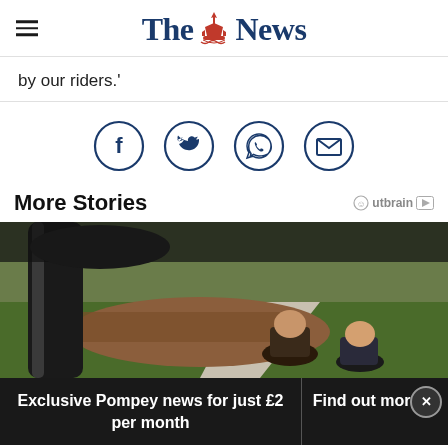The News
by our riders.'
[Figure (infographic): Social share icons: Facebook, Twitter, WhatsApp, Email — each in a circular border outline, dark navy blue color]
More Stories
[Figure (photo): Outdoor scene viewed from a doorbell camera or similar, showing a driveway, mulched garden bed, and two people. A dark cylindrical object (pole or column) is in the foreground.]
Exclusive Pompey news for just £2 per month
Find out more